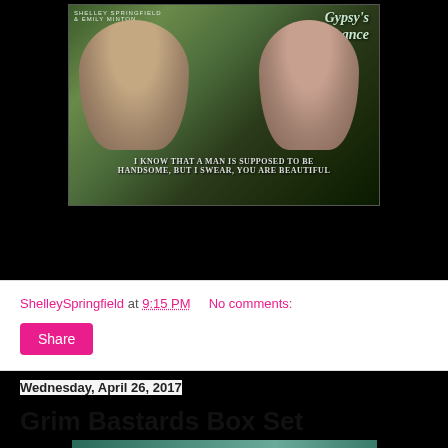[Figure (photo): Book cover for 'Gypsy's Chance' by Shelley Springfield and Emily Minton. Shows a man and woman close together. Quote text reads: 'I KNOW THAT A MAN IS SUPPOSED TO BE HANDSOME, BUT I SWEAR, YOU ARE BEAUTIFUL']
ShelleySpringfield at 9:15 PM    No comments:
Share
Wednesday, April 26, 2017
Grim Bastards Box Set
[Figure (photo): Partial book cover image at bottom of page]